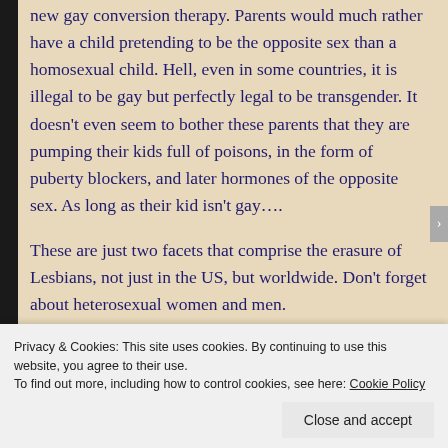new gay conversion therapy. Parents would much rather have a child pretending to be the opposite sex than a homosexual child. Hell, even in some countries, it is illegal to be gay but perfectly legal to be transgender. It doesn't even seem to bother these parents that they are pumping their kids full of poisons, in the form of puberty blockers, and later hormones of the opposite sex. As long as their kid isn't gay….
These are just two facets that comprise the erasure of Lesbians, not just in the US, but worldwide. Don't forget about heterosexual women and men.
Privacy & Cookies: This site uses cookies. By continuing to use this website, you agree to their use.
To find out more, including how to control cookies, see here: Cookie Policy